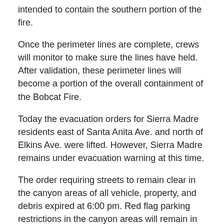intended to contain the southern portion of the fire.
Once the perimeter lines are complete, crews will monitor to make sure the lines have held. After validation, these perimeter lines will become a portion of the overall containment of the Bobcat Fire.
Today the evacuation orders for Sierra Madre residents east of Santa Anita Ave. and north of Elkins Ave. were lifted. However, Sierra Madre remains under evacuation warning at this time.
The order requiring streets to remain clear in the canyon areas of all vehicle, property, and debris expired at 6:00 pm. Red flag parking restrictions in the canyon areas will remain in place indefinitely.
When the Bobcat Fire first started, there was no imminent threat to Sierra Madre and informational updates on the fire were focused on the overall condition and status of the fire. As the Bobcat Fire